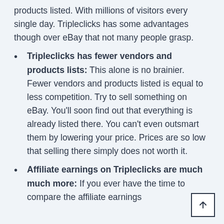products listed. With millions of visitors every single day. Tripleclicks has some advantages though over eBay that not many people grasp.
Tripleclicks has fewer vendors and products lists: This alone is no brainier. Fewer vendors and products listed is equal to less competition. Try to sell something on eBay. You'll soon find out that everything is already listed there. You can't even outsmart them by lowering your price. Prices are so low that selling there simply does not worth it.
Affiliate earnings on Tripleclicks are much much more: If you ever have the time to compare the affiliate earnings